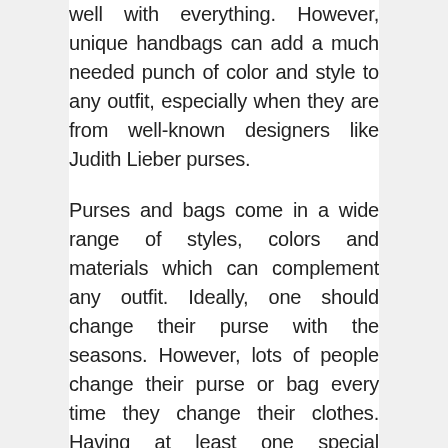well with everything. However, unique handbags can add a much needed punch of color and style to any outfit, especially when they are from well-known designers like Judith Lieber purses.

Purses and bags come in a wide range of styles, colors and materials which can complement any outfit. Ideally, one should change their purse with the seasons. However, lots of people change their purse or bag every time they change their clothes. Having at least one special occasion purse is ideal for those times when a